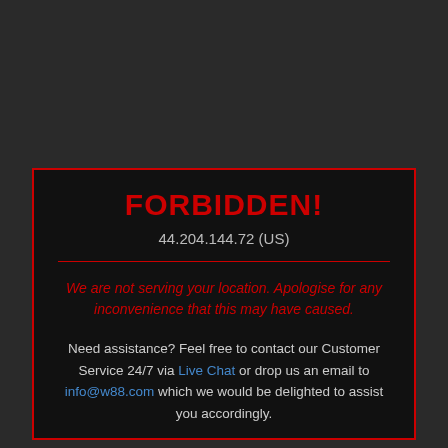FORBIDDEN!
44.204.144.72 (US)
We are not serving your location. Apologise for any inconvenience that this may have caused.
Need assistance? Feel free to contact our Customer Service 24/7 via Live Chat or drop us an email to info@w88.com which we would be delighted to assist you accordingly.